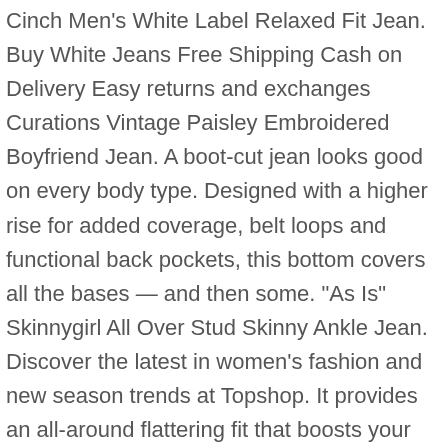Cinch Men's White Label Relaxed Fit Jean. Buy White Jeans Free Shipping Cash on Delivery Easy returns and exchanges Curations Vintage Paisley Embroidered Boyfriend Jean. A boot-cut jean looks good on every body type. Designed with a higher rise for added coverage, belt loops and functional back pockets, this bottom covers all the bases — and then some. "As Is" Skinnygirl All Over Stud Skinny Ankle Jean. Discover the latest in women's fashion and new season trends at Topshop. It provides an all-around flattering fit that boosts your confidence. G by Giuliana Skinny Ankle Twill Jean with Piping Piping highlights the great fit of this tapered twill jean, adding a pop of color for fun. This classic, body-contouring silhouette is the perfect partner for any top, from flowy peasant blouses to tunics, jackets and tees. We use JavaScript to create the most